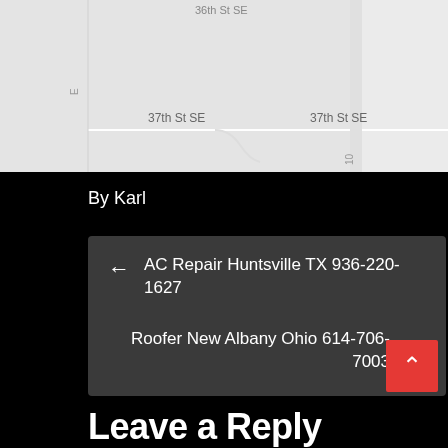[Figure (map): Street map showing 37th St SE, with road grid and labels including '36th St SE' at top and '37th St SE' labels]
By Karl
← AC Repair Huntsville TX 936-220-1627
Roofer New Albany Ohio 614-706-7003 →
Leave a Reply